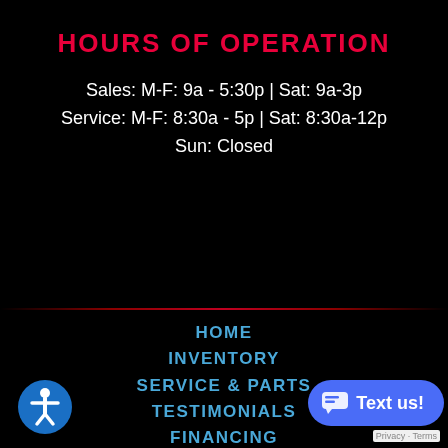HOURS OF OPERATION
Sales: M-F: 9a - 5:30p | Sat: 9a-3p
Service: M-F: 8:30a - 5p | Sat: 8:30a-12p
Sun: Closed
HOME
INVENTORY
SERVICE & PARTS
TESTIMONIALS
FINANCING
CONTACT
LOGIN
TOY HAULERS
TRAVEL TRAILERS
FIFTH WHEELS
CLASS A
[Figure (illustration): Blue circular accessibility icon with white person figure]
[Figure (illustration): Blue 'Text us!' chat button with speech bubble icon]